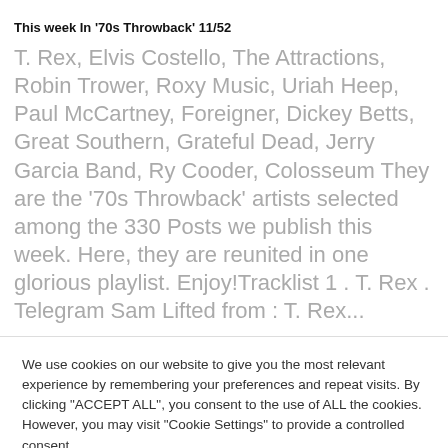This week In '70s Throwback' 11/52
T. Rex, Elvis Costello, The Attractions, Robin Trower, Roxy Music, Uriah Heep, Paul McCartney, Foreigner, Dickey Betts, Great Southern, Grateful Dead, Jerry Garcia Band, Ry Cooder, Colosseum They are the '70s Throwback' artists selected among the 330 Posts we publish this week. Here, they are reunited in one glorious playlist. Enjoy!Tracklist 1 . T. Rex . Telegram Sam Lifted from : T. Rex...
We use cookies on our website to give you the most relevant experience by remembering your preferences and repeat visits. By clicking "ACCEPT ALL", you consent to the use of ALL the cookies. However, you may visit "Cookie Settings" to provide a controlled consent.
Cookie Settings    REJECT ALL    ACCEPT ALL